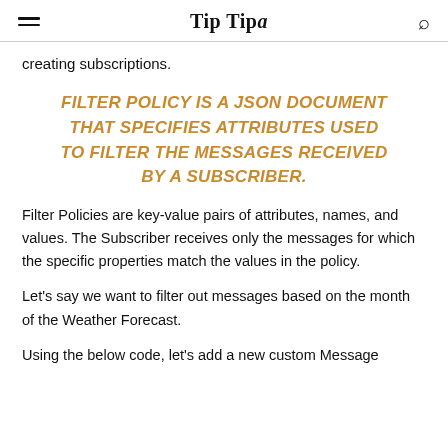Tip Tipa
creating subscriptions.
FILTER POLICY IS A JSON DOCUMENT THAT SPECIFIES ATTRIBUTES USED TO FILTER THE MESSAGES RECEIVED BY A SUBSCRIBER.
Filter Policies are key-value pairs of attributes, names, and values. The Subscriber receives only the messages for which the specific properties match the values in the policy.
Let's say we want to filter out messages based on the month of the Weather Forecast.
Using the below code, let's add a new custom Message